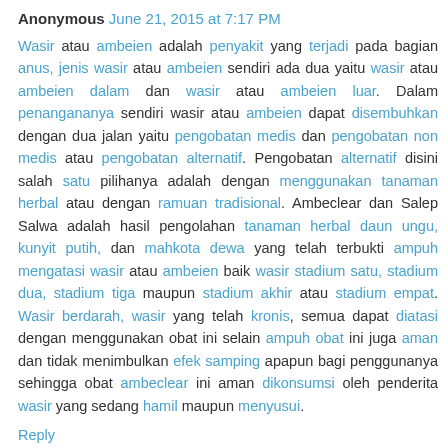Anonymous June 21, 2015 at 7:17 PM
Wasir atau ambeien adalah penyakit yang terjadi pada bagian anus, jenis wasir atau ambeien sendiri ada dua yaitu wasir atau ambeien dalam dan wasir atau ambeien luar. Dalam penangananya sendiri wasir atau ambeien dapat disembuhkan dengan dua jalan yaitu pengobatan medis dan pengobatan non medis atau pengobatan alternatif. Pengobatan alternatif disini salah satu pilihanya adalah dengan menggunakan tanaman herbal atau dengan ramuan tradisional. Ambeclear dan Salep Salwa adalah hasil pengolahan tanaman herbal daun ungu, kunyit putih, dan mahkota dewa yang telah terbukti ampuh mengatasi wasir atau ambeien baik wasir stadium satu, stadium dua, stadium tiga maupun stadium akhir atau stadium empat. Wasir berdarah, wasir yang telah kronis, semua dapat diatasi dengan menggunakan obat ini selain ampuh obat ini juga aman dan tidak menimbulkan efek samping apapun bagi penggunanya sehingga obat ambeclear ini aman dikonsumsi oleh penderita wasir yang sedang hamil maupun menyusui.
Reply